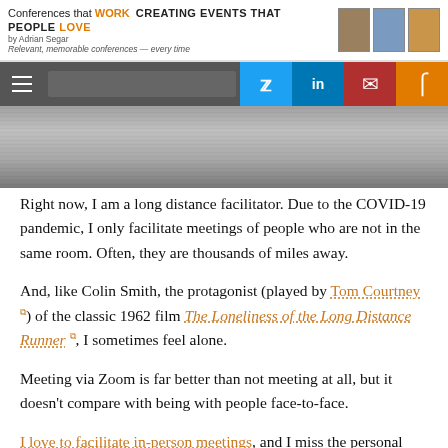Conferences that WORK  CREATING EVENTS THAT PEOPLE LOVE
by Adrian Segar
Relevant, memorable conferences — every time
[Figure (photo): Black and white photo showing feet/legs running on a grass field or track, partial view, grayscale]
Right now, I am a long distance facilitator. Due to the COVID-19 pandemic, I only facilitate meetings of people who are not in the same room. Often, they are thousands of miles away.
And, like Colin Smith, the protagonist (played by Tom Courtney) of the classic 1962 film The Loneliness of the Long Distance Runner, I sometimes feel alone.
Meeting via Zoom is far better than not meeting at all, but it doesn't compare with being with people face-to-face.
I love to facilitate in-person meetings, and I miss the personal connection possible there.